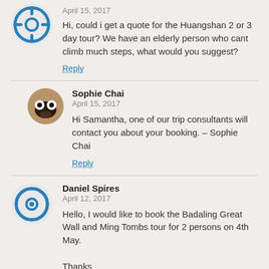April 15, 2017
Hi, could i get a quote for the Huangshan 2 or 3 day tour? We have an elderly person who cant climb much steps, what would you suggest?
Reply
Sophie Chai
April 15, 2017
Hi Samantha, one of our trip consultants will contact you about your booking. – Sophie Chai
Reply
Daniel Spires
April 12, 2017
Hello, I would like to book the Badaling Great Wall and Ming Tombs tour for 2 persons on 4th May.

Thanks
Reply